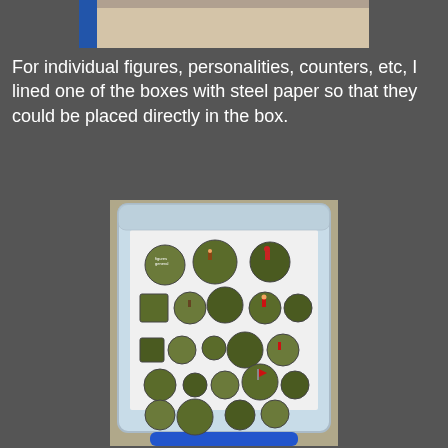[Figure (photo): Top portion of a photograph showing a plastic storage box with a blue handle, partially visible at the top of the page.]
For individual figures, personalities, counters, etc, I lined one of the boxes with steel paper so that they could be placed directly in the box.
[Figure (photo): A clear plastic storage box with a blue handle viewed from above, containing numerous round and square miniature figure bases with painted miniatures placed directly on white steel paper lining the box.]